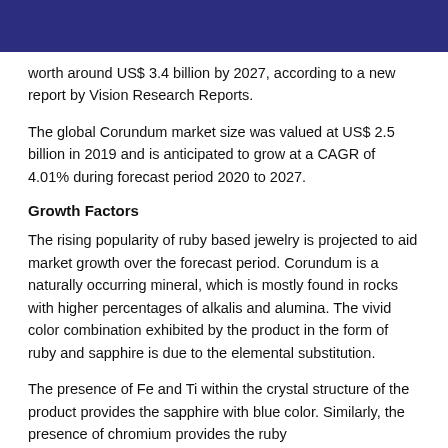worth around US$ 3.4 billion by 2027, according to a new report by Vision Research Reports.
The global Corundum market size was valued at US$ 2.5 billion in 2019 and is anticipated to grow at a CAGR of 4.01% during forecast period 2020 to 2027.
Growth Factors
The rising popularity of ruby based jewelry is projected to aid market growth over the forecast period. Corundum is a naturally occurring mineral, which is mostly found in rocks with higher percentages of alkalis and alumina. The vivid color combination exhibited by the product in the form of ruby and sapphire is due to the elemental substitution.
The presence of Fe and Ti within the crystal structure of the product provides the sapphire with blue color. Similarly, the presence of chromium provides the ruby